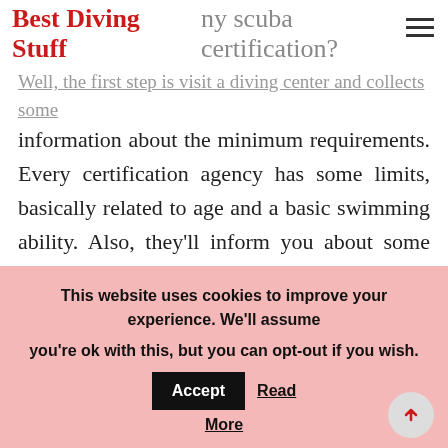Best Diving Stuff — ny scuba certification?
Well, the first step is visit a diving center and collects some information about the minimum requirements. Every certification agency has some limits, basically related to age and a basic swimming ability. Also, they'll inform you about some legal issues that can be in place in your country and about the scuba training agency that they are affiliate.
Diver certification agencies are organizations which issue certification of competence in diving skills under their own
This website uses cookies to improve your experience. We'll assume you're ok with this, but you can opt-out if you wish. Accept Read More